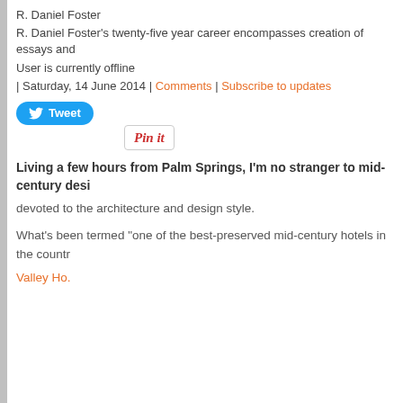R. Daniel Foster
R. Daniel Foster's twenty-five year career encompasses creation of essays and
User is currently offline
| Saturday, 14 June 2014 | Comments | Subscribe to updates
[Figure (other): Tweet button (blue rounded rectangle with Twitter bird icon and 'Tweet' text)]
[Figure (other): Pin it button (white box with red italic 'Pin it' text)]
Living a few hours from Palm Springs, I'm no stranger to mid-century desi
devoted to the architecture and design style.
What's been termed "one of the best-preserved mid-century hotels in the countr
Valley Ho.